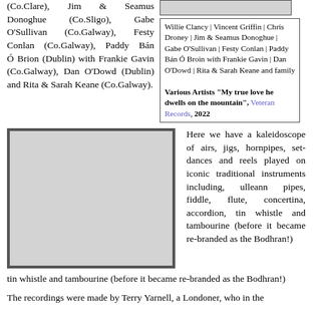(Co.Clare), Jim & Seamus Donoghue (Co.Sligo), Gabe O'Sullivan (Co.Galway), Festy Conlan (Co.Galway), Paddy Bán Ó Brion (Dublin) with Frankie Gavin (Co.Galway), Dan O'Dowd (Dublin) and Rita & Sarah Keane (Co.Galway).
[Figure (photo): Album cover image placeholder (top right)]
Willie Clancy | Vincent Griffin | Chris Droney | Jim & Seamus Donoghue | Gabe O'Sullivan | Festy Conlan | Paddy Bán Ó Broin with Frankie Gavin | Dan O'Dowd | Rita & Sarah Keane and family

Various Artists "My true love he dwells on the mountain", Veteran Records, 2022
[Figure (photo): Album cover image placeholder (bottom left, large)]
Here we have a kaleidoscope of airs, jigs, hornpipes, set-dances and reels played on iconic traditional instruments including, ulleann pipes, fiddle, flute, concertina, accordion, tin whistle and tambourine (before it became re-branded as the Bodhran!)
The recordings were made by Terry Yarnell, a Londoner, who in the